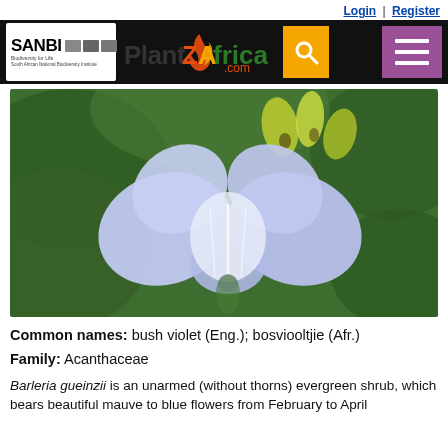Login | Register
[Figure (photo): A mauve-to-blue flower (Barleria gueinzii / bush violet) with five petals, white streaks on lower petals, against a background of green leaves and yellow-green buds]
Common names: bush violet (Eng.); bosviooltjie (Afr.)
Family: Acanthaceae
Barleria gueinzii is an unarmed (without thorns) evergreen shrub, which bears beautiful mauve to blue flowers from February to April